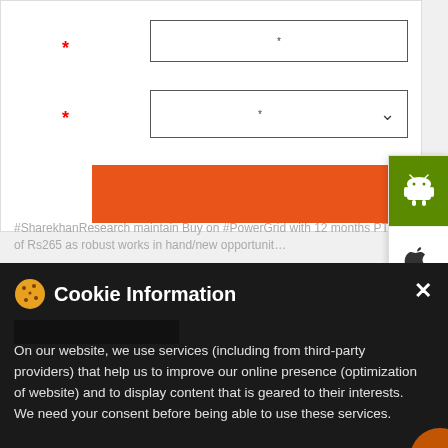[Figure (screenshot): Web form with two input fields (with red asterisks) and an orange submit button, plus Android and Apple app download buttons on the right side]
[Figure (screenshot): Cookie Information banner on dark background with close button (X), showing text about use of services and third-party providers requiring consent]
#SharekhanResearch maintain Buy on #PowerGrid with 12 months PT of Rs265 as robust works in hand/new opportunit…
Book Uber to Sharekhan
T&C Apply